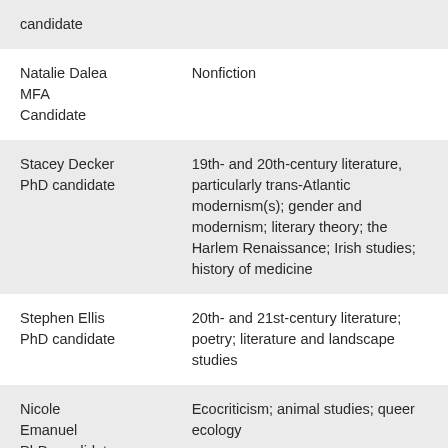| Name/Role | Specialization |
| --- | --- |
| candidate |  |
| Natalie Dalea
MFA Candidate | Nonfiction |
| Stacey Decker
PhD candidate | 19th- and 20th-century literature, particularly trans-Atlantic modernism(s); gender and modernism; literary theory; the Harlem Renaissance; Irish studies; history of medicine |
| Stephen Ellis
PhD candidate | 20th- and 21st-century literature; poetry; literature and landscape studies |
| Nicole Emanuel
PhD candidate | Ecocriticism; animal studies; queer ecology |